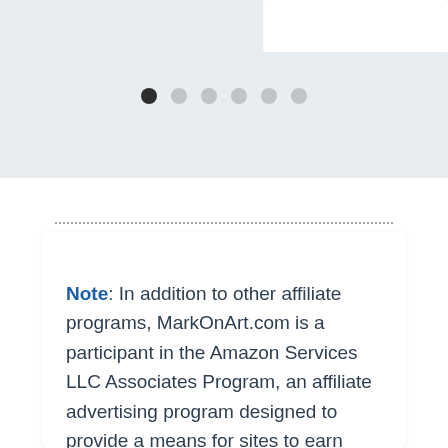[Figure (screenshot): Top section with light blue-gray background, a white rectangle in the upper right corner, and a row of six pagination dots (first dot dark/active, remaining five light gray/inactive) below it.]
Note: In addition to other affiliate programs, MarkOnArt.com is a participant in the Amazon Services LLC Associates Program, an affiliate advertising program designed to provide a means for sites to earn advertising fees by advertising and linking to Amazon.com, other Amazon sites worldwide